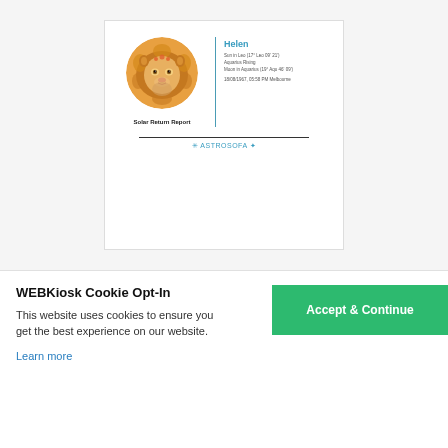[Figure (illustration): Document preview of a Solar Return Report with a circular lion illustration on the left, a vertical teal divider line, and on the right: the name 'Helen' in teal, astrological details (Sun in Leo 17° Leo 09' 21', Aquarius Rising, Moon in Aquarius 19° Aqu 46' 09'), a date/time line, and below the divider 'Solar Return Report' in bold. At the bottom, a horizontal line and the ASTROSOFA logo in teal.]
WEBKiosk Cookie Opt-In
This website uses cookies to ensure you get the best experience on our website.
Learn more
Accept & Continue